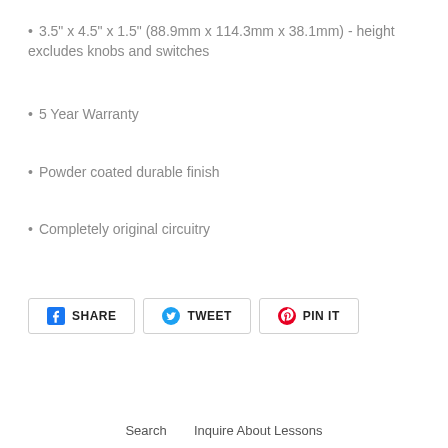3.5" x 4.5" x 1.5" (88.9mm x 114.3mm x 38.1mm) - height excludes knobs and switches
5 Year Warranty
Powder coated durable finish
Completely original circuitry
[Figure (other): Social sharing buttons: Facebook Share, Twitter Tweet, Pinterest Pin It]
Search   Inquire About Lessons